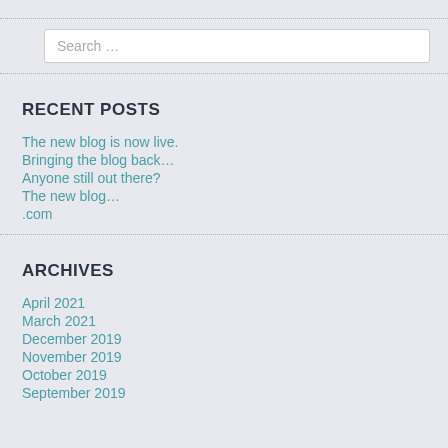Search …
RECENT POSTS
The new blog is now live.
Bringing the blog back…
Anyone still out there?
The new blog…
.com
ARCHIVES
April 2021
March 2021
December 2019
November 2019
October 2019
September 2019